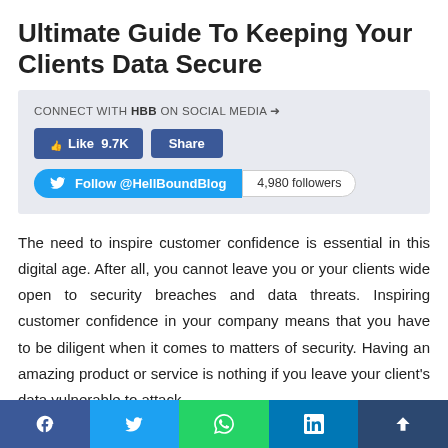Ultimate Guide To Keeping Your Clients Data Secure
[Figure (infographic): Social media connect widget with Facebook Like (9.7K) and Share buttons, and Twitter Follow @HellBoundBlog button with 4,980 followers count]
The need to inspire customer confidence is essential in this digital age. After all, you cannot leave you or your clients wide open to security breaches and data threats. Inspiring customer confidence in your company means that you have to be diligent when it comes to matters of security. Having an amazing product or service is nothing if you leave your client's data vulnerable to attack.
[Figure (infographic): Social share bar at bottom with Facebook, Twitter, WhatsApp, LinkedIn, and share/up buttons]